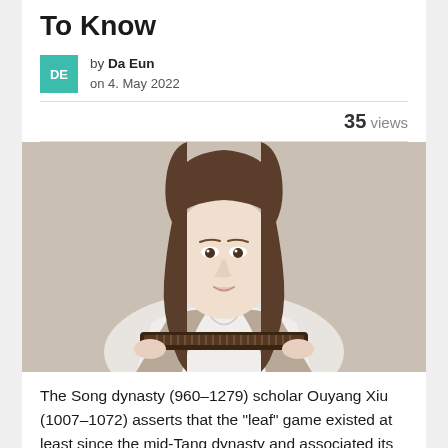To Know
by Da Eun on 4. May 2022
35 views
[Figure (photo): Young woman with long dark hair sitting on a beige sofa, holding a dark wooden instrument (guzheng or similar stringed instrument) in front of her, wearing a white top]
The Song dynasty (960–1279) scholar Ouyang Xiu (1007–1072) asserts that the "leaf" game existed at least since the mid-Tang dynasty and associated its invention with the development of printed sheets as a writing medium. The dealer's portion is often called a "toke" bet, which comes from the practice